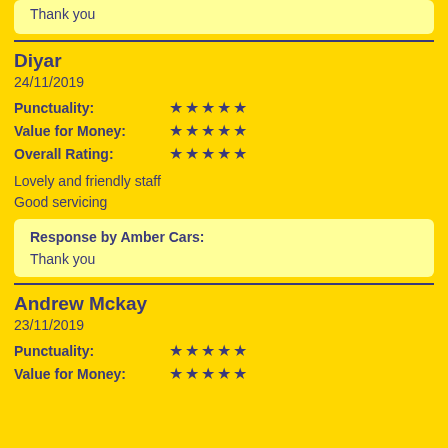Thank you
Diyar
24/11/2019
Punctuality: ★★★★★
Value for Money: ★★★★★
Overall Rating: ★★★★★
Lovely and friendly staff
Good servicing
Response by Amber Cars:
Thank you
Andrew Mckay
23/11/2019
Punctuality: ★★★★★
Value for Money: ★★★★★